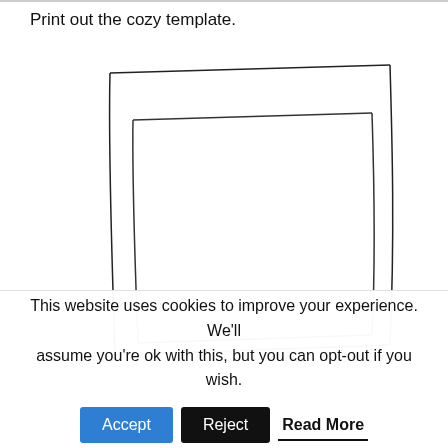Print out the cozy template.
[Figure (illustration): Two cozy template outlines shown side-by-side, appearing as tall rectangular trapezoid shapes with slightly curved lines, resembling mug cozy patterns. The shapes are drawn in black outline on white background, slightly tilted/curved.]
This website uses cookies to improve your experience. We'll assume you're ok with this, but you can opt-out if you wish.
Accept
Reject
Read More